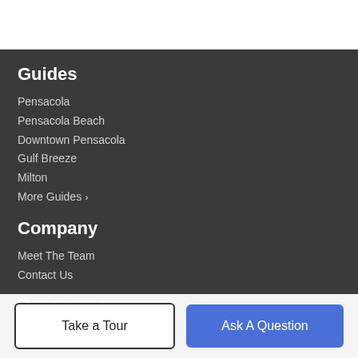Guides
Pensacola
Pensacola Beach
Downtown Pensacola
Gulf Breeze
Milton
More Guides >
Company
Meet The Team
Contact Us
Resources
Take a Tour
Ask A Question